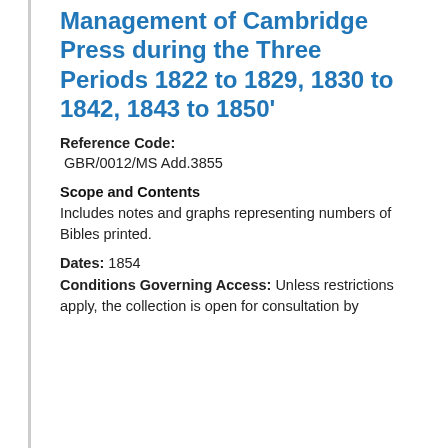Management of Cambridge Press during the Three Periods 1822 to 1829, 1830 to 1842, 1843 to 1850'
Reference Code: GBR/0012/MS Add.3855
Scope and Contents
Includes notes and graphs representing numbers of Bibles printed.
Dates: 1854
Conditions Governing Access: Unless restrictions apply, the collection is open for consultation by